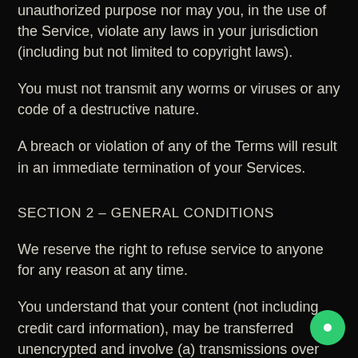unauthorized purpose nor may you, in the use of the Service, violate any laws in your jurisdiction (including but not limited to copyright laws).
You must not transmit any worms or viruses or any code of a destructive nature.
A breach or violation of any of the Terms will result in an immediate termination of your Services.
SECTION 2 – GENERAL CONDITIONS
We reserve the right to refuse service to anyone for any reason at any time.
You understand that your content (not including credit card information), may be transferred unencrypted and involve (a) transmissions over